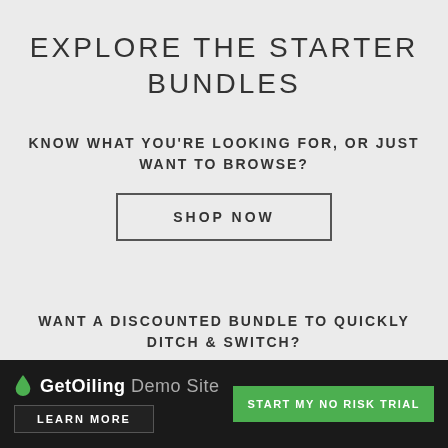EXPLORE THE STARTER BUNDLES
KNOW WHAT YOU'RE LOOKING FOR, OR JUST WANT TO BROWSE?
SHOP NOW
WANT A DISCOUNTED BUNDLE TO QUICKLY DITCH & SWITCH?
GetOiling Demo Site  START MY NO RISK TRIAL  LEARN MORE